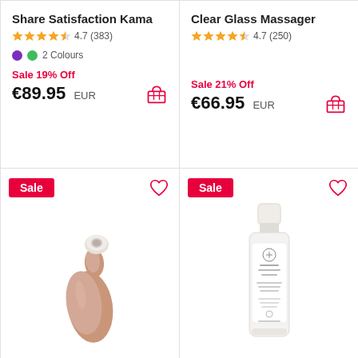Share Satisfaction Kama
4.7 (383)
2 Colours
Sale 19% Off
€89.95 EUR
Clear Glass Massager
4.7 (250)
Sale 21% Off
€66.95 EUR
[Figure (photo): Product photo of a rose gold clitoral stimulator device]
[Figure (photo): Product photo of a clear bottle of water-based lubricant]